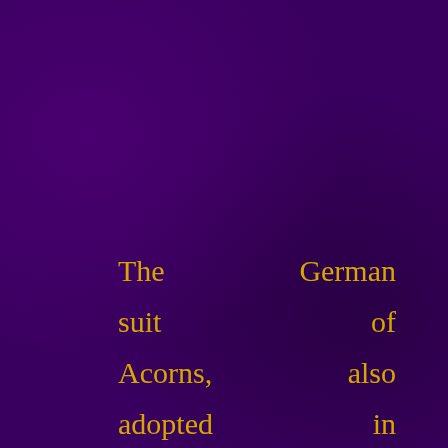The German suit of Acorns, also adopted in Switzerland, was probably influenced by the latter interpretation, as the tip of the fruit recalls the cudgel's shaft, while the acorn's cup is consistent...